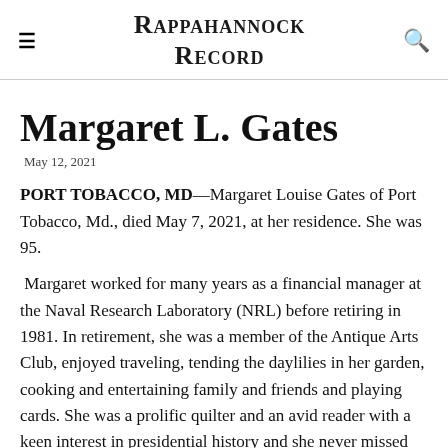Rappahannock Record
Margaret L. Gates
May 12, 2021
PORT TOBACCO, MD—Margaret Louise Gates of Port Tobacco, Md., died May 7, 2021, at her residence. She was 95.
Margaret worked for many years as a financial manager at the Naval Research Laboratory (NRL) before retiring in 1981. In retirement, she was a member of the Antique Arts Club, enjoyed traveling, tending the daylilies in her garden, cooking and entertaining family and friends and playing cards. She was a prolific quilter and an avid reader with a keen interest in presidential history and she never missed the opportunity to tell